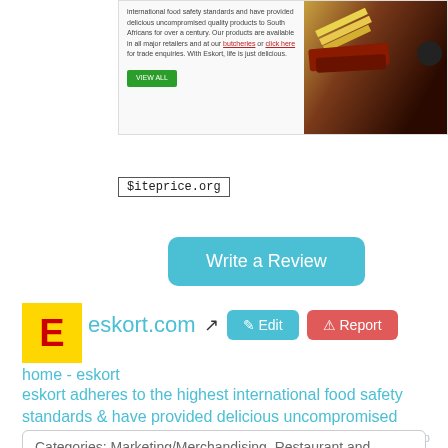[Figure (screenshot): Website preview screenshot of eskort.com showing product description text, VIEW ALL button, and food image]
$iteprice.org
Write a Review
[Figure (logo): Eskort logo - red E on yellow background with dark border]
eskort.com
Edit
Report
home - eskort
eskort adheres to the highest international food safety standards & have provided delicious uncompromised quality products for over a century.
Scroll Top
Categories: Marketing/Merchandising, Restaurant and Dining
Topics:
Facebook Likes: 27
Est. Website Worth: $ 9,500